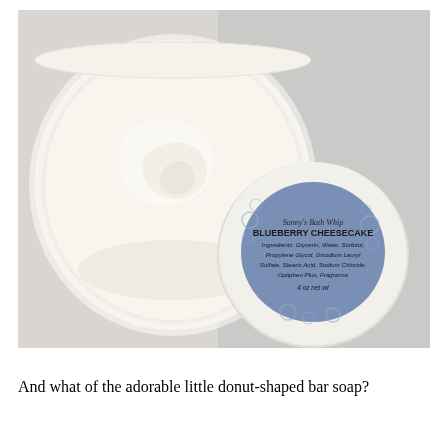[Figure (photo): An open white round container of Sunny's Bath Whip Blueberry Cheesecake whipped soap/cream, showing the creamy white interior. Next to it is the jar's lid with a blue circular label reading: Sunny's Bath Whip, BLUEBERRY CHEESECAKE, Ingredients: Glycerin, Water, Sorbitol, Propylene Glycol, Disodium Lauryl Sulfate, Stearic Acid, Sodium Chloride, Optiphen Plus, Fragrance. 4 oz net wt.]
And what of the adorable little donut-shaped bar soap?